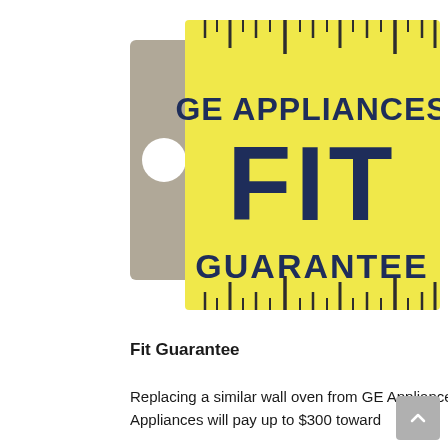[Figure (logo): GE Appliances Fit Guarantee logo — a yellow ruler/price-tag shape with a grey tab on the left containing a white circle hole. Text reads 'GE APPLIANCES FIT GUARANTEE' in dark navy bold letters. Ruler tick marks appear along top and bottom edges.]
Fit Guarantee
Replacing a similar wall oven from GE Appliances or another brand? GE wall ovens are guaranteed for an exact fit or GE Appliances will pay up to $300 toward